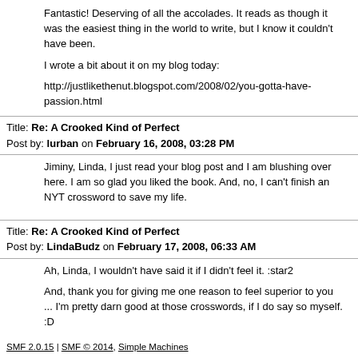Fantastic! Deserving of all the accolades. It reads as though it was the easiest thing in the world to write, but I know it couldn't have been.
I wrote a bit about it on my blog today:
http://justlikethenut.blogspot.com/2008/02/you-gotta-have-passion.html
Title: Re: A Crooked Kind of Perfect
Post by: lurban on February 16, 2008, 03:28 PM
Jiminy, Linda, I just read your blog post and I am blushing over here.  I am so glad you liked the book.  And, no, I can't finish an NYT crossword to save my life.
Title: Re: A Crooked Kind of Perfect
Post by: LindaBudz on February 17, 2008, 06:33 AM
Ah, Linda, I wouldn't have said it if I didn't feel it. :star2
And, thank you for giving me one reason to feel superior to you ... I'm pretty darn good at those crosswords, if I do say so myself.   :D
SMF 2.0.15 | SMF © 2014, Simple Machines